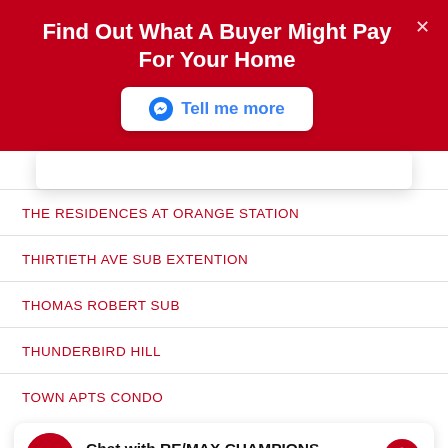Find Out What A Buyer Might Pay For Your Home
[Figure (screenshot): Tell me more button with Facebook Messenger icon on white background]
THE RESIDENCES AT ORANGE STATION
THIRTIETH AVE SUB EXTENTION
THOMAS ROBERT SUB
THUNDERBIRD HILL
TOWN APTS CONDO
[Figure (screenshot): Chat widget: Chat with RE/MAX CHAMPIONS - Hi! How can we help you? with avatar and messenger icon]
TROTTER SUB